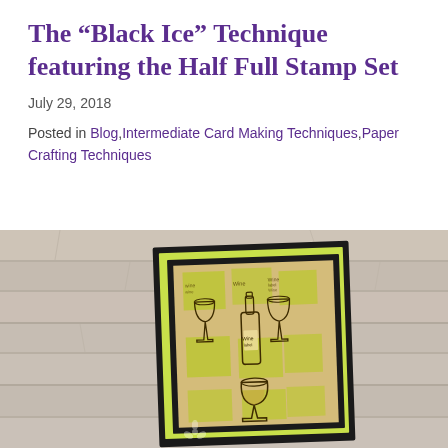The “Black Ice” Technique featuring the Half Full Stamp Set
July 29, 2018
Posted in Blog,Intermediate Card Making Techniques,Paper Crafting Techniques
[Figure (photo): A handmade greeting card featuring wine bottle and wine glass stamps on a kraft/yellow-green background, matted with lime green and black layers, propped against a light wood plank background.]